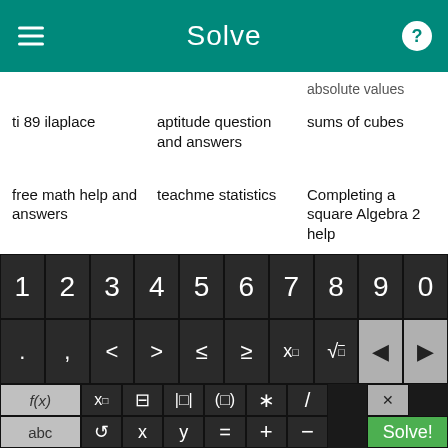Solve
absolute values
ti 89 ilaplace
aptitude question and answers
sums of cubes
exponents/distributive property works
free math help and answers
teachme statistics
Completing a square Algebra 2 help
math combina
balancing equations
problems matrix elgebra
examples of Graphing Linear Equations
exponents ma math
[Figure (screenshot): Math solver app keyboard with number row 1-9,0; symbol row with . , < > ≤ ≥ x^□ √ backspace left/right arrows; function row with f(x), x subscript, fraction, absolute value, parentheses, *, /, delete; bottom row with abc, undo, x, y, =, +, -, Solve! button]